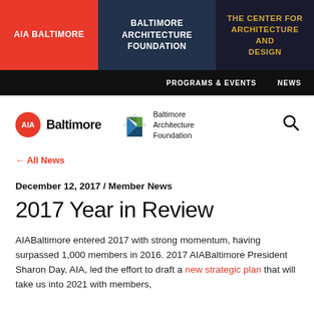AIA BALTIMORE | BALTIMORE ARCHITECTURE FOUNDATION | THE CENTER FOR ARCHITECTURE AND DESIGN
PROGRAMS & EVENTS | NEWS
[Figure (logo): AIA Baltimore logo with red circle and Baltimore Architecture Foundation logo with geometric shapes]
← All News
December 12, 2017 / Member News
2017 Year in Review
AIABaltimore entered 2017 with strong momentum, having surpassed 1,000 members in 2016. 2017 AIABaltimore President Sharon Day, AIA, led the effort to draft a new strategic plan that will take us into 2021 with members, future partners, and community stewardship.